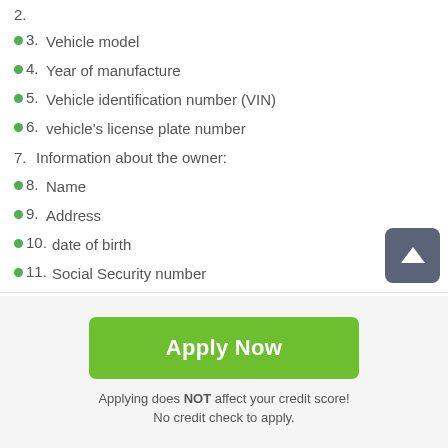2.
3. Vehicle model
4. Year of manufacture
5. Vehicle identification number (VIN)
6. vehicle's license plate number
7. Information about the owner:
8. Name
9. Address
10. date of birth
11. Social Security number
Apply Now
Applying does NOT affect your credit score!
No credit check to apply.